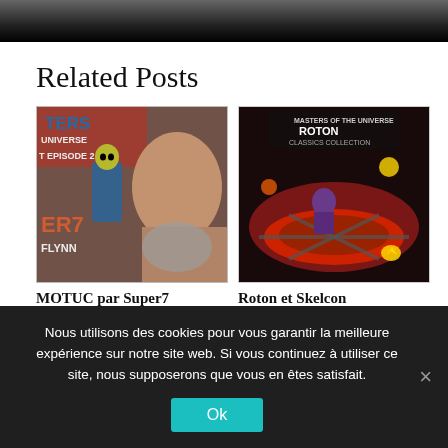Related Posts
[Figure (photo): Man holding a Masters of the Universe Skeletor action figure, with MOTU Universe branding in background, Super7 / Flynn branding]
MOTUC par Super7
[Figure (photo): Masters of the Universe Roton toy box art featuring Roton vehicle with Skeletor riding and attacking figures]
Roton et Skelcon
Nous utilisons des cookies pour vous garantir la meilleure expérience sur notre site web. Si vous continuez à utiliser ce site, nous supposerons que vous en êtes satisfait.
Ok